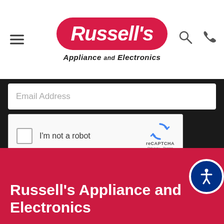[Figure (logo): Russell's Appliance and Electronics logo - red pill-shaped background with white italic bold text]
Email Address
[Figure (screenshot): reCAPTCHA widget with checkbox labeled I'm not a robot, reCAPTCHA branding with Privacy and Terms links]
Sign Me Up
Russell's Appliance and Electronics